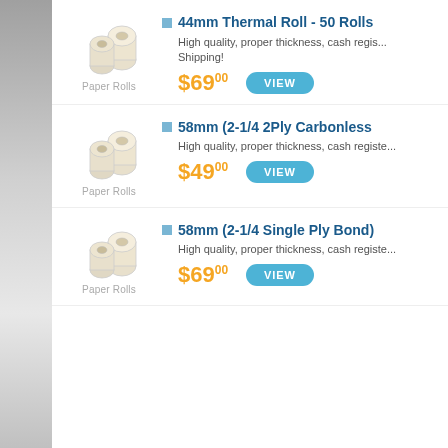[Figure (illustration): Paper rolls product image for item 1]
44mm Thermal Roll - 50 Rolls
High quality, proper thickness, cash register... Shipping!
$69.00
[Figure (illustration): Paper rolls product image for item 2]
58mm (2-1/4 2Ply Carbonless
High quality, proper thickness, cash register...
$49.00
[Figure (illustration): Paper rolls product image for item 3]
58mm (2-1/4 Single Ply Bond)
High quality, proper thickness, cash register...
$69.00